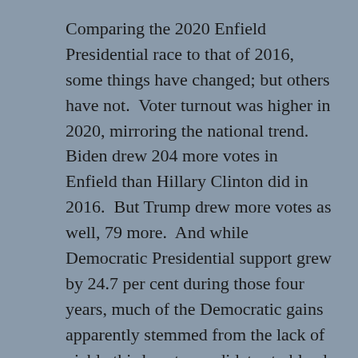Comparing the 2020 Enfield Presidential race to that of 2016, some things have changed; but others have not.  Voter turnout was higher in 2020, mirroring the national trend.  Biden drew 204 more votes in Enfield than Hillary Clinton did in 2016.  But Trump drew more votes as well, 79 more.  And while Democratic Presidential support grew by 24.7 per cent during those four years, much of the Democratic gains apparently stemmed from the lack of viable third-party candidates to bleed off Democratic support, third-party spoilers like 2016's Jill Stein and Gary Johnson.
But despite the 2020 statistical Democratic advantage, a stubborn fact remains.  President